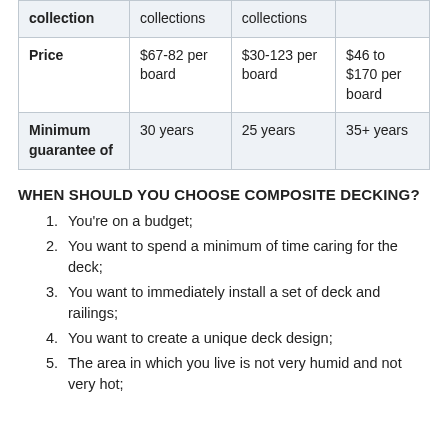| collection | collections | collections |  |
| --- | --- | --- | --- |
| Price | $67-82 per board | $30-123 per board | $46 to $170 per board |
| Minimum guarantee of | 30 years | 25 years | 35+ years |
WHEN SHOULD YOU CHOOSE COMPOSITE DECKING?
You're on a budget;
You want to spend a minimum of time caring for the deck;
You want to immediately install a set of deck and railings;
You want to create a unique deck design;
The area in which you live is not very humid and not very hot;